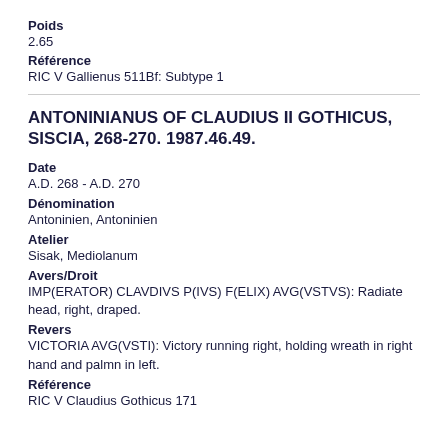Poids
2.65
Référence
RIC V Gallienus 511Bf: Subtype 1
ANTONINIANUS OF CLAUDIUS II GOTHICUS, SISCIA, 268-270. 1987.46.49.
Date
A.D. 268 - A.D. 270
Dénomination
Antoninien, Antoninien
Atelier
Sisak, Mediolanum
Avers/Droit
IMP(ERATOR) CLAVDIVS P(IVS) F(ELIX) AVG(VSTVS): Radiate head, right, draped.
Revers
VICTORIA AVG(VSTI): Victory running right, holding wreath in right hand and palmn in left.
Référence
RIC V Claudius Gothicus 171